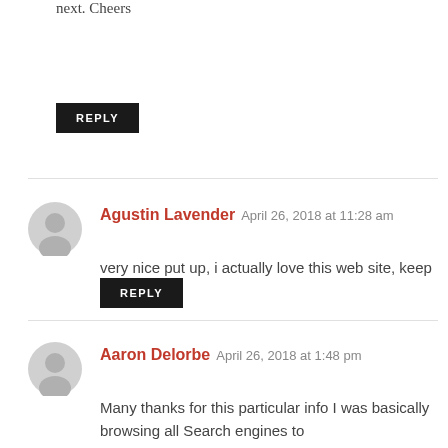next. Cheers
REPLY
Agustin Lavender   April 26, 2018 at 11:28 am
very nice put up, i actually love this web site, keep on it
REPLY
Aaron Delorbe   April 26, 2018 at 1:48 pm
Many thanks for this particular info I was basically browsing all Search engines to